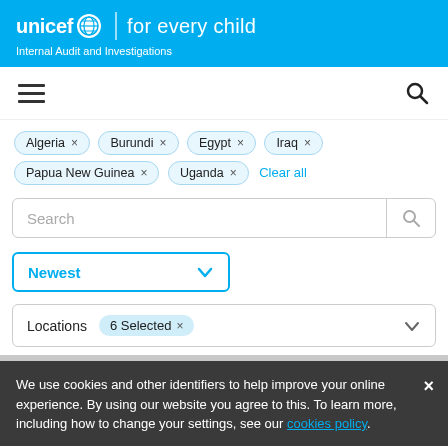unicef for every child – Internal Audit and Investigations
[Figure (screenshot): Navigation bar with hamburger menu icon on left and search icon on right]
Algeria × Burundi × Egypt × Iraq × Papua New Guinea × Uganda × Clear all
[Figure (screenshot): Search input box with search button on the right]
[Figure (screenshot): Sort dropdown selector showing 'Newest' with chevron]
[Figure (screenshot): Locations filter showing '6 Selected ×' with chevron]
We use cookies and other identifiers to help improve your online experience. By using our website you agree to this. To learn more, including how to change your settings, see our cookies policy.